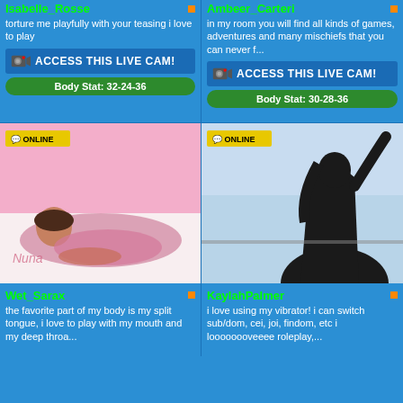Isabelle_Rosse
torture me playfully with your teasing i love to play
[Figure (other): ACCESS THIS LIVE CAM! button with webcam icon]
Body Stat: 32-24-36
Ambeer_Carteri
in my room you will find all kinds of games, adventures and many mischiefs that you can never f...
[Figure (other): ACCESS THIS LIVE CAM! button with webcam icon]
Body Stat: 30-28-36
[Figure (photo): Woman with pink headband lying on bed, ONLINE badge]
Wet_Sarax
the favorite part of my body is my split tongue, i love to play with my mouth and my deep throa...
[Figure (photo): Silhouette of woman near window, ONLINE badge]
KaylahPalmer
i love using my vibrator! i can switch sub/dom, cei, joi, findom, etc i loooooooveeee roleplay,...